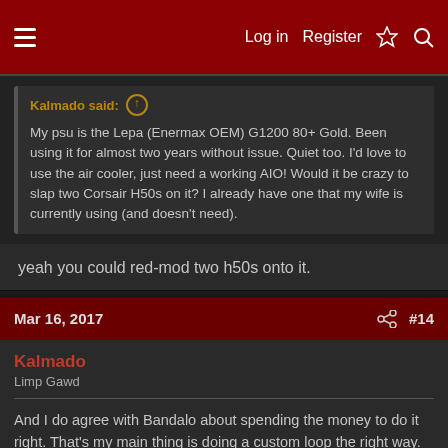Log in | Register | [lightning] | [search]
Kalmado said: [arrow up]
My psu is the Lepa (Enermax OEM) G1200 80+ Gold. Been using it for almost two years without issue. Quiet too. I'd love to use the air cooler, just need a working AIO! Would it be crazy to slap two Corsair H50s on it? I already have one that my wife is currently using (and doesn't need).
yeah you could red-mod two h50s onto it.
Mar 16, 2017  #14
Kalmado
Limp Gawd
And I do agree with Bandalo about spending the money to do it right. That's my main thing is doing a custom loop the right way. There are full kits on ebay for like $150 and I'm looking at it like those are probably the cheapest materials and that stuff won't last and will wreck my parts.